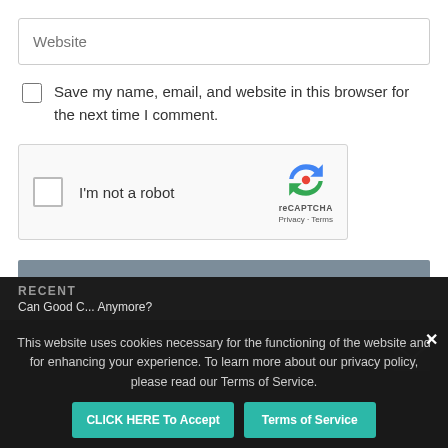Website
Save my name, email, and website in this browser for the next time I comment.
[Figure (other): reCAPTCHA widget with checkbox labeled I'm not a robot and Google reCAPTCHA logo]
POST COMMENT
RECENT
Can Good C... Anymore?
This website uses cookies necessary for the functioning of the website and for enhancing your experience. To learn more about our privacy policy, please read our Terms of Service.
CLICK HERE To Accept
Terms of Service